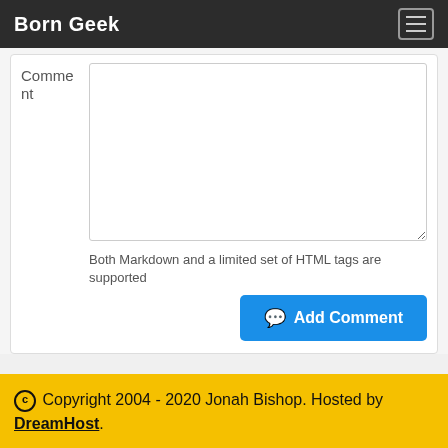Born Geek
Comment
Both Markdown and a limited set of HTML tags are supported
Add Comment
© Copyright 2004 - 2020 Jonah Bishop. Hosted by DreamHost.